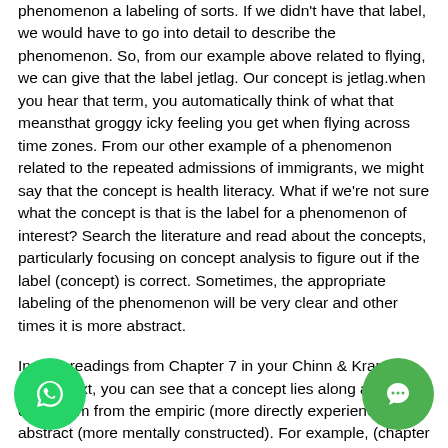phenomenon a labeling of sorts. If we didn't have that label, we would have to go into detail to describe the phenomenon. So, from our example above related to flying, we can give that the label jetlag. Our concept is jetlag.when you hear that term, you automatically think of what that meansthat groggy icky feeling you get when flying across time zones. From our other example of a phenomenon related to the repeated admissions of immigrants, we might say that the concept is health literacy. What if we're not sure what the concept is that is the label for a phenomenon of interest? Search the literature and read about the concepts, particularly focusing on concept analysis to figure out if the label (concept) is correct. Sometimes, the appropriate labeling of the phenomenon will be very clear and other times it is more abstract.
In your readings from Chapter 7 in your Chinn & Kramer (2011) text, you can see that a concept lies along a continuum from the empiric (more directly experienced) to abstract (more mentally constructed). For example, (chapter 7) the most concrete empirical concepts are those